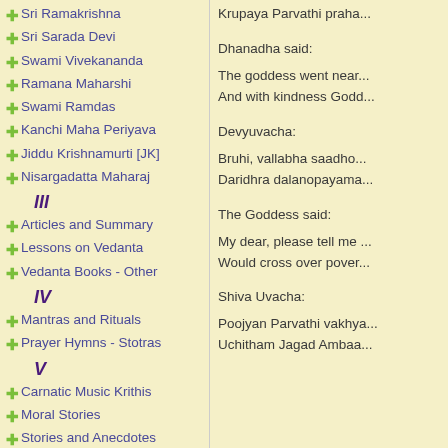Sri Ramakrishna
Sri Sarada Devi
Swami Vivekananda
Ramana Maharshi
Swami Ramdas
Kanchi Maha Periyava
Jiddu Krishnamurti [JK]
Nisargadatta Maharaj
III
Articles and Summary
Lessons on Vedanta
Vedanta Books - Other
IV
Mantras and Rituals
Prayer Hymns - Stotras
V
Carnatic Music Krithis
Moral Stories
Stories and Anecdotes
Our Websites
Krupaya Parvathi praha...
Dhanadha said:
The goddess went near...
And with kindness Godd...
Devyuvacha:
Bruhi, vallabha saadho...
Daridhra dalanopayama...
The Goddess said:
My dear, please tell me...
Would cross over pover...
Shiva Uvacha:
Poojyan Parvathi vakhya...
Uchitham Jagad Ambaa...